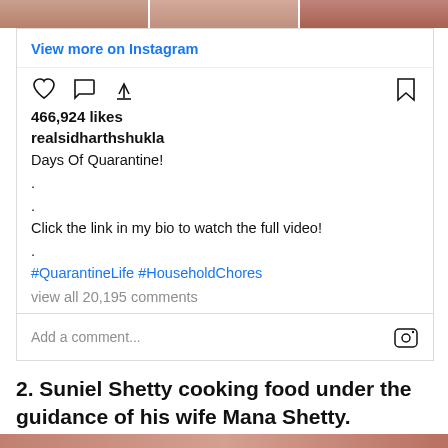[Figure (photo): Top image strip showing cropped food/cooking images in three segments]
View more on Instagram
[Figure (infographic): Instagram interaction icons: heart, comment, share (left) and bookmark (right)]
466,924 likes
realsidharthshukla
Days Of Quarantine!
.
.
Click the link in my bio to watch the full video!
.
#QuarantineLife #HouseholdChores
view all 20,195 comments
Add a comment...
2. Suniel Shetty cooking food under the guidance of his wife Mana Shetty.
[Figure (photo): Bottom image strip showing cooking scene]